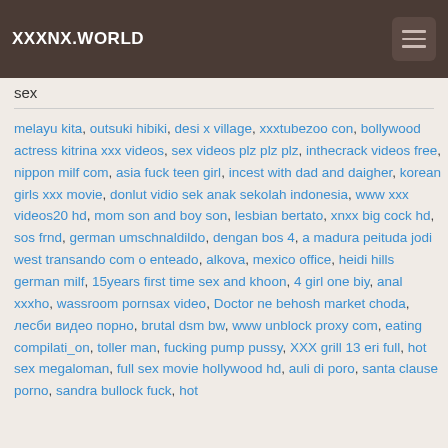XXXNX.WORLD
sex
melayu kita, outsuki hibiki, desi x village, xxxtubezoo con, bollywood actress kitrina xxx videos, sex videos plz plz plz, inthecrack videos free, nippon milf com, asia fuck teen girl, incest with dad and daigher, korean girls xxx movie, donlut vidio sek anak sekolah indonesia, www xxx videos20 hd, mom son and boy son, lesbian bertato, xnxx big cock hd, sos frnd, german umschnaldildo, dengan bos 4, a madura peituda jodi west transando com o enteado, alkova, mexico office, heidi hills german milf, 15years first time sex and khoon, 4 girl one biy, anal xxxho, wassroom pornsax video, Doctor ne behosh market choda, лесби видео порно, brutal dsm bw, www unblock proxy com, eating compilati_on, toller man, fucking pump pussy, XXX grill 13 eri full, hot sex megaloman, full sex movie hollywood hd, auli di poro, santa clause porno, sandra bullock fuck, hot